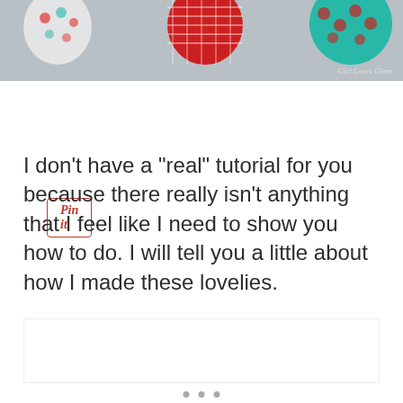[Figure (photo): Top portion of a photo showing colorful fabric heart shapes (houndstooth red/white, teal/red pattern) on a gray background. Watermark reads 'Girl Loves Glam' in bottom right.]
[Figure (other): Pin it button - red bordered button with italic 'Pin it' text in red]
I don’t have a “real” tutorial for you because there really isn’t anything that I feel like I need to show you how to do. I will tell you a little about how I made these lovelies.
[Figure (photo): Partially visible photo below the text, mostly white/blank area]
[Figure (other): Three pagination dots at the bottom of the page]